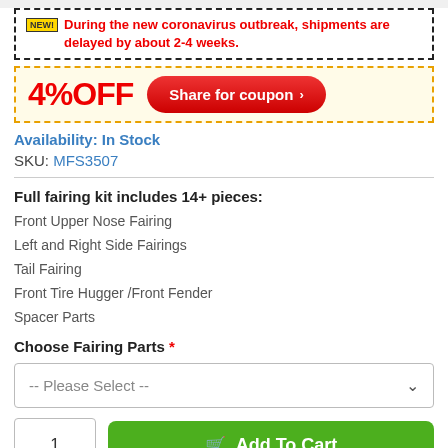NEW! During the new coronavirus outbreak, shipments are delayed by about 2-4 weeks.
[Figure (infographic): 4% OFF Share for coupon button in a dashed orange border box]
Availability: In Stock
SKU: MFS3507
Full fairing kit includes 14+ pieces:
Front Upper Nose Fairing
Left and Right Side Fairings
Tail Fairing
Front Tire Hugger /Front Fender
Spacer Parts
Choose Fairing Parts *
-- Please Select --
1  Add To Cart